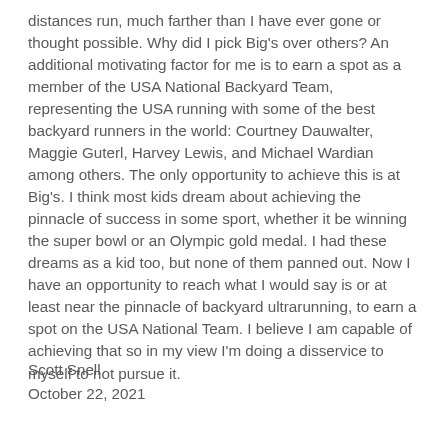distances run, much farther than I have ever gone or thought possible. Why did I pick Big's over others? An additional motivating factor for me is to earn a spot as a member of the USA National Backyard Team, representing the USA running with some of the best backyard runners in the world: Courtney Dauwalter, Maggie Guterl, Harvey Lewis, and Michael Wardian among others. The only opportunity to achieve this is at Big's. I think most kids dream about achieving the pinnacle of success in some sport, whether it be winning the super bowl or an Olympic gold medal. I had these dreams as a kid too, but none of them panned out. Now I have an opportunity to reach what I would say is or at least near the pinnacle of backyard ultrarunning, to earn a spot on the USA National Team. I believe I am capable of achieving that so in my view I'm doing a disservice to myself to not pursue it.
Scott Snell
October 22, 2021